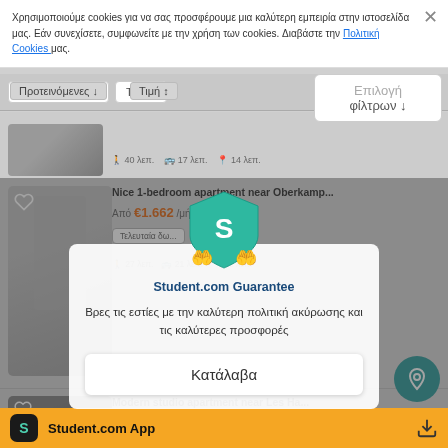Χρησιμοποιούμε cookies για να σας προσφέρουμε μια καλύτερη εμπειρία στην ιστοσελίδα μας. Εάν συνεχίσετε, συμφωνείτε με την χρήση των cookies. Διαβάστε την Πολιτική Cookies μας.
Προτεινόμενες  Τιμή
Επιλογή φίλτρων
[Figure (screenshot): Partially visible listing card with grey thumbnail image and walking/transit time icons showing 40 λεπ., 17 λεπ., 14 λεπ.]
Nice 1-bedroom apartment near Oberkamp...
Από €1.662 /μήν.
Τελευταία δω...
27 λεπ.  21 λεπ.  12 λεπ.
[Figure (infographic): Student.com Guarantee popup with teal shield logo, hands holding shield graphic, title 'Student.com Guarantee', body text 'Βρες τις εστίες με την καλύτερη πολιτική ακύρωσης και τις καλύτερες προσφορές', and a 'Κατάλαβα' button]
Modern studio apartment near Les Ha...
Από €2.100 /μήν.
Τελευταία δωμάτια!
Student.com App